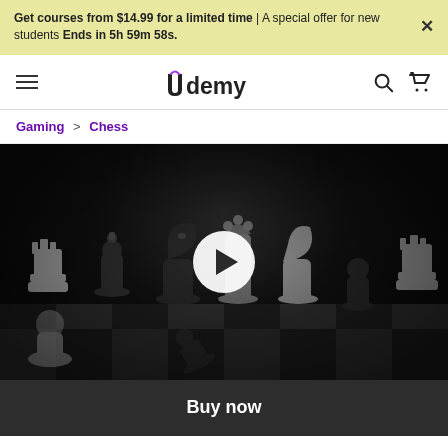Get courses from $14.99 for a limited time | A special offer for new students Ends in 5h 59m 58s.
[Figure (logo): Udemy navigation bar with hamburger menu, Udemy logo, search icon, and cart icon]
Gaming > Chess
[Figure (photo): Black and white photo of chess pieces on a chess board with a white circular play button overlay in the center]
Buy now